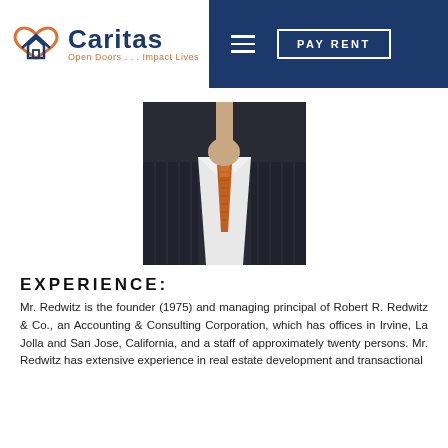[Figure (logo): Caritas logo with house/heart icon in orange and navy, text 'Caritas' in navy bold, tagline 'Open Doors...Impact Lives' in orange. Navigation bar in dark navy with hamburger menu and PAY RENT button.]
[Figure (photo): Professional photo showing a man in a dark pinstripe suit with a white shirt and orange/copper tie, cropped from chest to chin — no face visible.]
EXPERIENCE:
Mr. Redwitz is the founder (1975) and managing principal of Robert R. Redwitz & Co., an Accounting & Consulting Corporation, which has offices in Irvine, La Jolla and San Jose, California, and a staff of approximately twenty persons. Mr. Redwitz has extensive experience in real estate development and transactional